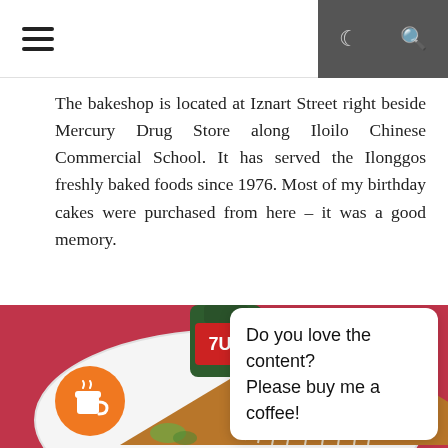≡  ☾  🔍
The bakeshop is located at Iznart Street right beside Mercury Drug Store along Iloilo Chinese Commercial School. It has served the Ilonggos freshly baked foods since 1976. Most of my birthday cakes were purchased from here – it was a good memory.
[Figure (photo): Photo of a triangular slice of baked food topped with shredded cheese on a white plate, placed on a red surface, with a green bottle in the upper left corner. A 'buy me a coffee' widget overlays the bottom right.]
Do you love the content? Please buy me a coffee!